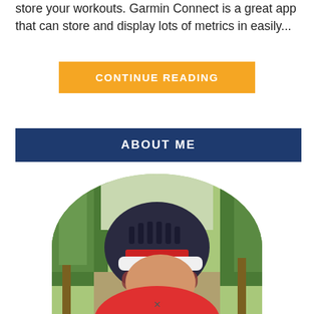store your workouts. Garmin Connect is a great app that can store and display lots of metrics in easily...
CONTINUE READING
ABOUT ME
[Figure (photo): Circular cropped photo of a cyclist wearing a helmet labeled CONSTANCE and sunglasses, outdoors with trees in background]